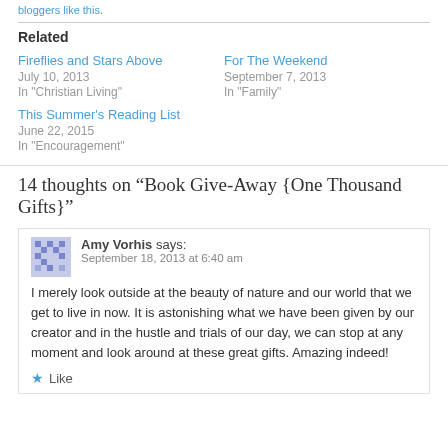bloggers like this.
Related
Fireflies and Stars Above
July 10, 2013
In "Christian Living"
For The Weekend
September 7, 2013
In "Family"
This Summer's Reading List
June 22, 2015
In "Encouragement"
14 thoughts on “Book Give-Away {One Thousand Gifts}”
Amy Vorhis says:
September 18, 2013 at 6:40 am

I merely look outside at the beauty of nature and our world that we get to live in now. It is astonishing what we have been given by our creator and in the hustle and trials of our day, we can stop at any moment and look around at these great gifts. Amazing indeed!
Like